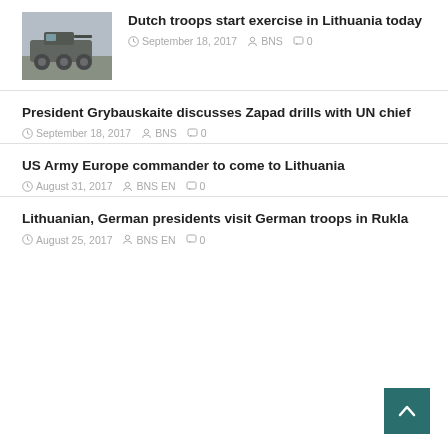[Figure (photo): Military armored vehicle (appears to be a wheeled APC/MRAP) photographed outdoors]
Dutch troops start exercise in Lithuania today
September 18, 2017  BNS  0
President Grybauskaite discusses Zapad drills with UN chief
September 18, 2017  BNS  0
US Army Europe commander to come to Lithuania
August 31, 2017  BNS EN  0
Lithuanian, German presidents visit German troops in Rukla
August 25, 2017  BNS EN  0